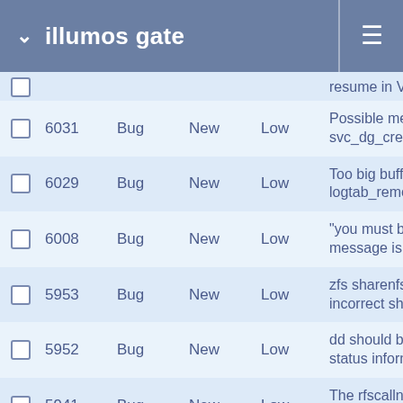illumos gate
|  | # | Type | Status | Priority | Subject |
| --- | --- | --- | --- | --- | --- |
|  |  |  |  |  | resume in Virt... |
|  | 6031 | Bug | New | Low | Possible mem... svc_dg_create... |
|  | 6029 | Bug | New | Low | Too big buffer... logtab_remem... |
|  | 6008 | Bug | New | Low | "you must be r... message is no... |
|  | 5953 | Bug | New | Low | zfs sharenfs p... incorrect share... |
|  | 5952 | Bug | New | Low | dd should be a... status informa... |
|  | 5941 | Bug | New | Low | The rfscallnam... contain less el... |
|  | 5874 | Bug | New | Low | Very low mem... double-free |
|  | 5867 | Bug | New | Low | zfs_resume_fs... z_root value |